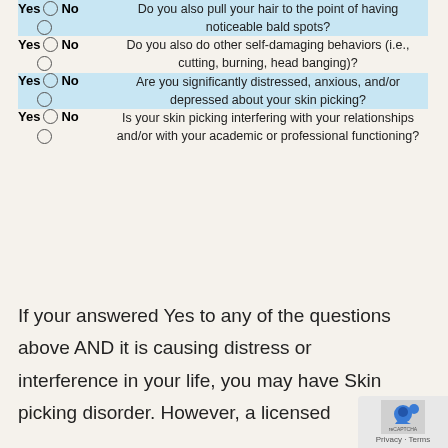| Yes/No | Question |
| --- | --- |
| Yes / No | Do you also pull your hair to the point of having noticeable bald spots? |
| Yes / No | Do you also do other self-damaging behaviors (i.e., cutting, burning, head banging)? |
| Yes / No | Are you significantly distressed, anxious, and/or depressed about your skin picking? |
| Yes / No | Is your skin picking interfering with your relationships and/or with your academic or professional functioning? |
If your answered Yes to any of the questions above AND it is causing distress or interference in your life, you may have Skin picking disorder. However, a licensed